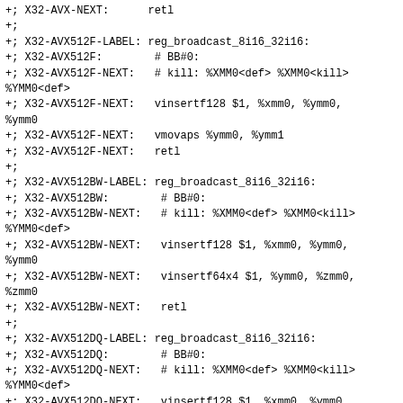+; X32-AVX-NEXT:      retl
+;
+; X32-AVX512F-LABEL: reg_broadcast_8i16_32i16:
+; X32-AVX512F:        # BB#0:
+; X32-AVX512F-NEXT:   # kill: %XMM0<def> %XMM0<kill> %YMM0<def>
+; X32-AVX512F-NEXT:   vinsertf128 $1, %xmm0, %ymm0, %ymm0
+; X32-AVX512F-NEXT:   vmovaps %ymm0, %ymm1
+; X32-AVX512F-NEXT:   retl
+;
+; X32-AVX512BW-LABEL: reg_broadcast_8i16_32i16:
+; X32-AVX512BW:        # BB#0:
+; X32-AVX512BW-NEXT:   # kill: %XMM0<def> %XMM0<kill> %YMM0<def>
+; X32-AVX512BW-NEXT:   vinsertf128 $1, %xmm0, %ymm0, %ymm0
+; X32-AVX512BW-NEXT:   vinsertf64x4 $1, %ymm0, %zmm0, %zmm0
+; X32-AVX512BW-NEXT:   retl
+;
+; X32-AVX512DQ-LABEL: reg_broadcast_8i16_32i16:
+; X32-AVX512DQ:        # BB#0:
+; X32-AVX512DQ-NEXT:   # kill: %XMM0<def> %XMM0<kill> %YMM0<def>
+; X32-AVX512DQ-NEXT:   vinsertf128 $1, %xmm0, %ymm0, %ymm0
+; X32-AVX512DQ-NEXT:   vmovaps %ymm0, %ymm1
+; X32-AVX512DQ-NEXT:   retl
+;